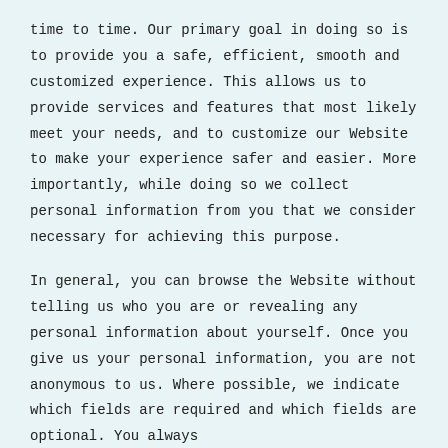time to time. Our primary goal in doing so is to provide you a safe, efficient, smooth and customized experience. This allows us to provide services and features that most likely meet your needs, and to customize our Website to make your experience safer and easier. More importantly, while doing so we collect personal information from you that we consider necessary for achieving this purpose.
In general, you can browse the Website without telling us who you are or revealing any personal information about yourself. Once you give us your personal information, you are not anonymous to us. Where possible, we indicate which fields are required and which fields are optional. You always